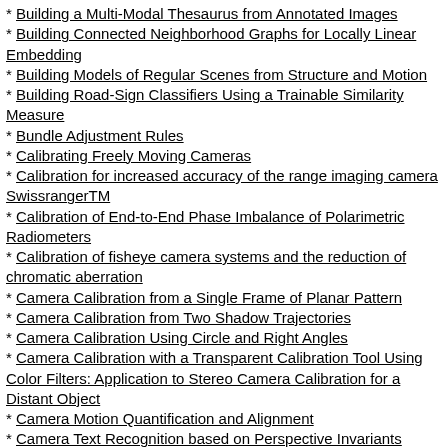* Building a Multi-Modal Thesaurus from Annotated Images
* Building Connected Neighborhood Graphs for Locally Linear Embedding
* Building Models of Regular Scenes from Structure and Motion
* Building Road-Sign Classifiers Using a Trainable Similarity Measure
* Bundle Adjustment Rules
* Calibrating Freely Moving Cameras
* Calibration for increased accuracy of the range imaging camera SwissrangerTM
* Calibration of End-to-End Phase Imbalance of Polarimetric Radiometers
* Calibration of fisheye camera systems and the reduction of chromatic aberration
* Camera Calibration from a Single Frame of Planar Pattern
* Camera Calibration from Two Shadow Trajectories
* Camera Calibration Using Circle and Right Angles
* Camera Calibration with a Transparent Calibration Tool Using Color Filters: Application to Stereo Camera Calibration for a Distant Object
* Camera Motion Quantification and Alignment
* Camera Text Recognition based on Perspective Invariants
* Camera-Based Document Image Mosaicing
* Camera-Based Energy Relaxation Framework to Minimize